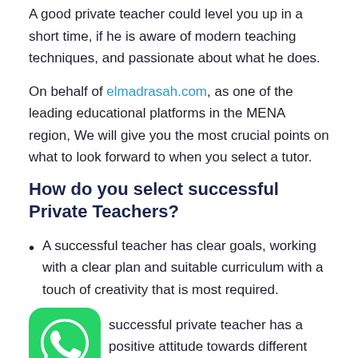A good private teacher could level you up in a short time, if he is aware of modern teaching techniques, and passionate about what he does.
On behalf of elmadrasah.com, as one of the leading educational platforms in the MENA region, We will give you the most crucial points on what to look forward to when you select a tutor.
How do you select successful Private Teachers?
A successful teacher has clear goals, working with a clear plan and suitable curriculum with a touch of creativity that is most required.
A successful private teacher has a positive attitude towards different situations.